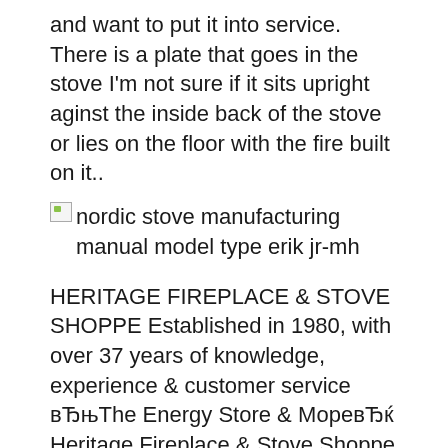and want to put it into service. There is a plate that goes in the stove I'm not sure if it sits upright aginst the inside back of the stove or lies on the floor with the fire built on it..
[Figure (photo): Broken image placeholder with alt text: nordic stove manufacturing manual model type erik jr-mh]
HERITAGE FIREPLACE & STOVE SHOPPE Established in 1980, with over 37 years of knowledge, experience & customer service вЂњThe Energy Store & МоревЂќ Heritage Fireplace & Stove Shoppe is a certified, reputable dealer. Blog Repair Center Shop by Tool Type. Brands. Sign in. Sign in with Password. Repair Parts Home Appliance Parts US Stove